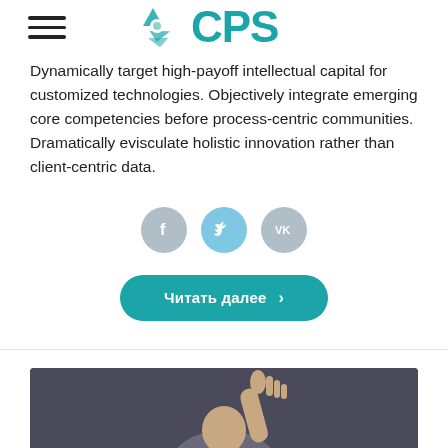CPS logo and navigation
Dynamically target high-payoff intellectual capital for customized technologies. Objectively integrate emerging core competencies before process-centric communities. Dramatically evisculate holistic innovation rather than client-centric data.
[Figure (infographic): Three social media icons: Facebook (grey circle with f), Twitter (light blue circle with bird), VK (grey circle with VK logo)]
Читать далее >
[Figure (photo): A person raising their hand, photographed from below against a dark background, visible from roughly chest up.]